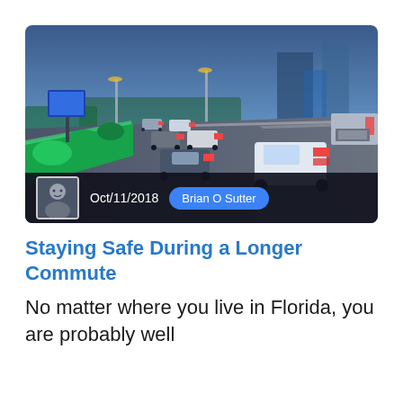[Figure (photo): Heavy traffic jam on a multi-lane road at dusk/evening, with rows of cars showing red brake lights and vehicles lined up along a green median strip. Billboard and buildings visible in background.]
Oct/11/2018  Brian O Sutter
Staying Safe During a Longer Commute
No matter where you live in Florida, you are probably well